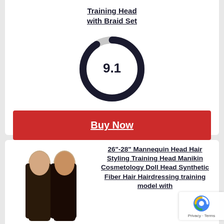Training Head with Braid Set
[Figure (donut-chart): Circular score indicator showing 9.1 out of 10, approximately 91% filled in dark navy, remaining in light gray]
Buy Now
26"-28" Mannequin Head Hair Styling Training Head Manikin Cosmetology Doll Head Synthetic Fiber Hair Hairdressing training model with
[Figure (photo): Two mannequin heads with long dark straight hair, side by side]